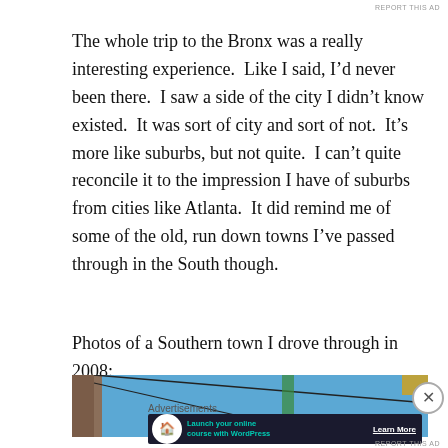REPORT THIS AD
The whole trip to the Bronx was a really interesting experience.  Like I said, I’d never been there.  I saw a side of the city I didn’t know existed.  It was sort of city and sort of not.  It’s more like suburbs, but not quite.  I can’t quite reconcile it to the impression I have of suburbs from cities like Atlanta.  It did remind me of some of the old, run down towns I’ve passed through in the South though.
Photos of a Southern town I drove through in 2008:
[Figure (photo): Photograph showing power lines against a blue sky with a green pole and a yellow object in the upper right]
Advertisements
[Figure (infographic): Advertisement banner: Launch your online course with WordPress. Learn More button.]
REPORT THIS AD